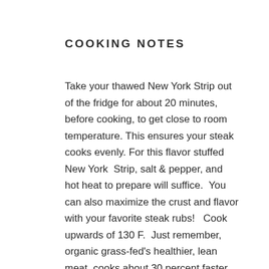COOKING NOTES
Take your thawed New York Strip out of the fridge for about 20 minutes, before cooking, to get close to room temperature. This ensures your steak cooks evenly. For this flavor stuffed New York Strip, salt & pepper, and hot heat to prepare will suffice. You can also maximize the crust and flavor with your favorite steak rubs!   Cook upwards of 130 F.  Just remember, organic grass-fed’s healthier, lean meat, cooks about 30 percent faster than grain fed beef.   Enjoy